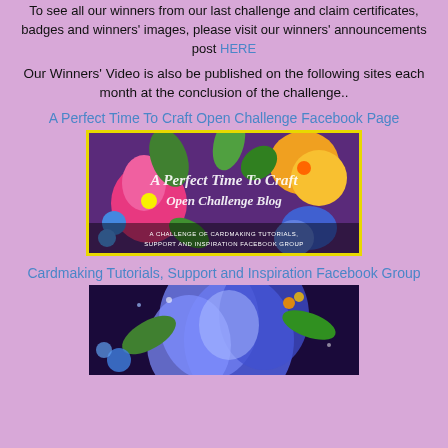To see all our winners from our last challenge and claim certificates, badges and winners' images, please visit our winners' announcements post HERE
Our Winners' Video is also be published on the following sites each month at the conclusion of the challenge..
A Perfect Time To Craft Open Challenge Facebook Page
[Figure (illustration): A Perfect Time To Craft Open Challenge Blog banner with colorful pansy flowers on purple background]
Cardmaking Tutorials, Support and Inspiration Facebook Group
[Figure (illustration): Colorful floral image with large blue/purple flower]